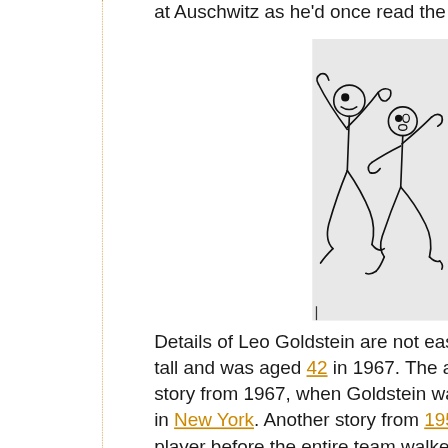at Auschwitz as he'd once read the fo...
[Figure (illustration): A cartoon-style line drawing showing two animated figures in dynamic poses, appearing to be running or jumping, drawn in black ink on a light grey background. The figures are stylized with exaggerated limbs.]
Details of Leo Goldstein are not easil... tall and was aged 42 in 1967. The ab... story from 1967, when Goldstein was... in New York. Another story from 1959... player before the entire team walked-... against Argentina, in protest of a Gold...